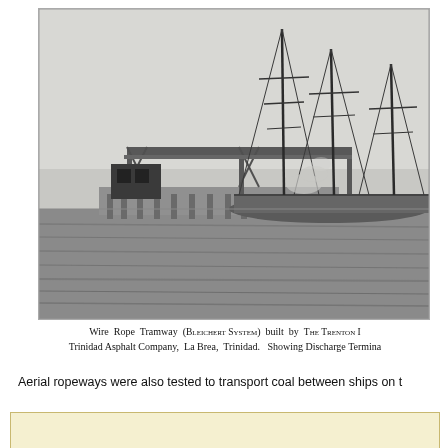[Figure (photo): Black and white historical photograph of a Wire Rope Tramway (Bleichert System) at a dock/pier, with sailing ships with tall masts visible alongside a loading/discharge terminal structure over water. Built by The Trenton Iron Company for Trinidad Asphalt Company, La Brea, Trinidad.]
Wire Rope Tramway (BLEICHERT SYSTEM) built by THE TRENTON I... Trinidad Asphalt Company, La Brea, Trinidad.  Showing Discharge Termina...
Aerial ropeways were also tested to transport coal between ships on t...